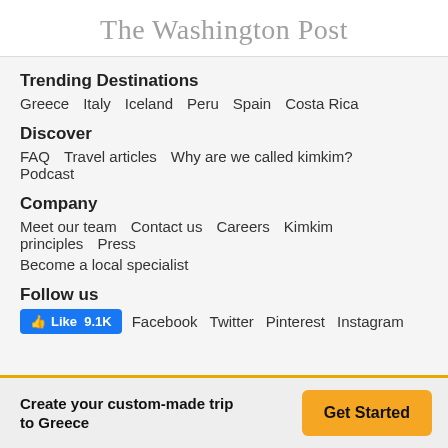The Washington Post
Trending Destinations
Greece   Italy   Iceland   Peru   Spain   Costa Rica
Discover
FAQ   Travel articles   Why are we called kimkim?   Podcast
Company
Meet our team   Contact us   Careers   Kimkim principles   Press   Become a local specialist
Follow us
Like 9.1K   Facebook   Twitter   Pinterest   Instagram
Create your custom-made trip to Greece
Get Started